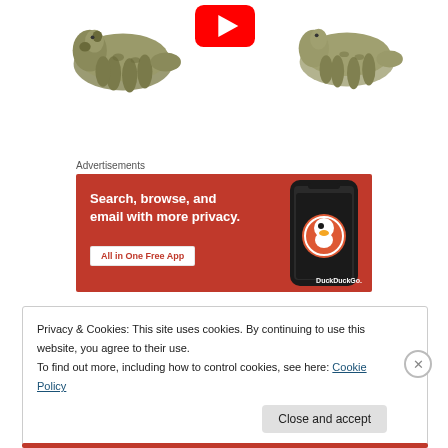[Figure (screenshot): Two illustrated bears (tapir-like animals in olive/camo coloring) flanking a YouTube play button icon at the top of the page]
Advertisements
[Figure (screenshot): DuckDuckGo advertisement banner with orange/red background reading 'Search, browse, and email with more privacy. All in One Free App' with a phone showing the DuckDuckGo app]
Privacy & Cookies: This site uses cookies. By continuing to use this website, you agree to their use.
To find out more, including how to control cookies, see here: Cookie Policy
Close and accept